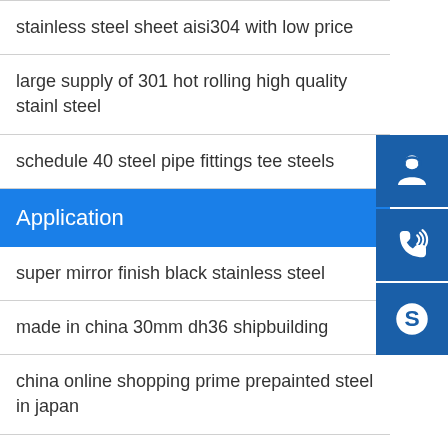stainless steel sheet aisi304 with low price
large supply of 301 hot rolling high quality stainless steel
schedule 40 steel pipe fittings tee steels
Application
super mirror finish black stainless steel
made in china 30mm dh36 shipbuilding
china online shopping prime prepainted steel in japan
ss400 q235 q345 spbc hot rolling coil